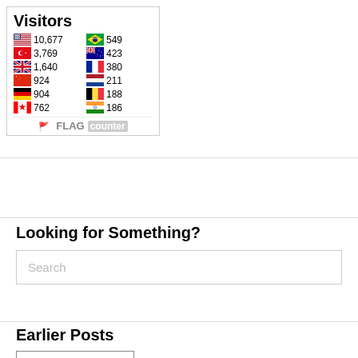[Figure (infographic): Flag Counter widget showing visitors by country. Visitors title at top. Two columns of country flags with visitor counts: USA 10,677 | Brazil 549 | Turkey 3,769 | Australia 423 | UK 1,640 | France 380 | China 924 | Netherlands 211 | Germany 904 | Belgium 188 | Canada 762 | India 186. FLAG counter logo at bottom.]
Looking for Something?
Search
Earlier Posts
Select Month